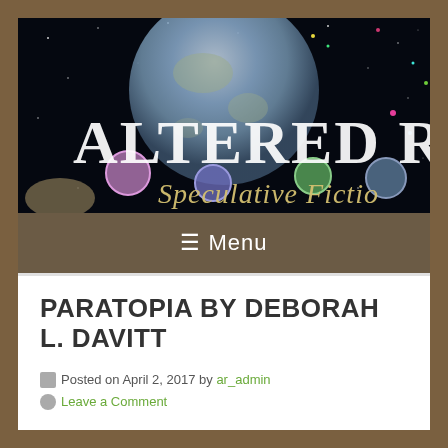[Figure (illustration): Website header banner showing a planet/Earth against a black starry space background with colorful circular medallion icons scattered around. Large white serif text reads 'ALTERED R' (cut off) and italic gold/yellow script text reads 'Speculative Fictio' (cut off). This is a blog header image.]
≡ Menu
PARATOPIA BY DEBORAH L. DAVITT
Posted on April 2, 2017 by ar_admin
Leave a Comment